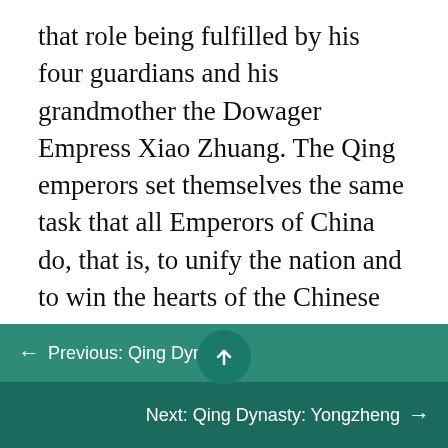that role being fulfilled by his four guardians and his grandmother the Dowager Empress Xiao Zhuang. The Qing emperors set themselves the same task that all Emperors of China do, that is, to unify the nation and to win the hearts of the Chinese people. Although non-ethnic Chinese, they quickly adopted the habits and customs of China's imperial tradition. Open to Western technology, Emperor Kangxi, (or K'ang-hsi) discoursed with Jesuit missionaries and he also learned to play the piano from them. However, when the Roman Catholic P[ope] Clement XI refused the Jesuit attempt to Christianize Chinese.
← Previous: Qing Dynasty
Next: Qing Dynasty: Yongzheng →